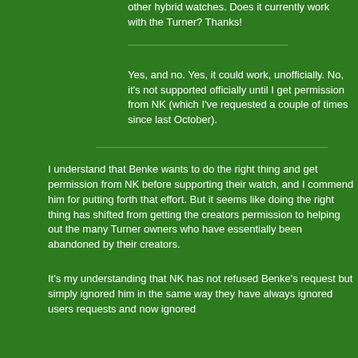other hybrid watches. Does it currently work with the Turner? Thanks!
Yes, and no. Yes, it could work, unofficially. No, it's not supported officially until I get permission from NK (which I've requested a couple of times since last October).
I understand that Benke wants to do the right thing and get permission from NK before supporting their watch, and I commend him for putting forth that effort. But it seems like doing the right thing has shifted from getting the creators permission to helping out the many Turner owners who have essentially been abandoned by their creators.
It's my understanding that NK has not refused Benke's request but simply ignored him in the same way they have always ignored users requests and now ignored